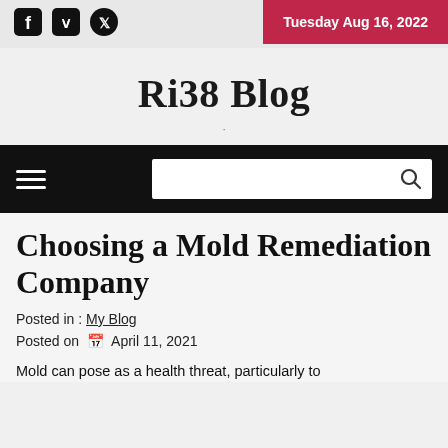Tuesday Aug 16, 2022
Ri38 Blog
.
Choosing a Mold Remediation Company
Posted in : My Blog
Posted on  April 11, 2021
Mold can pose as a health threat, particularly to